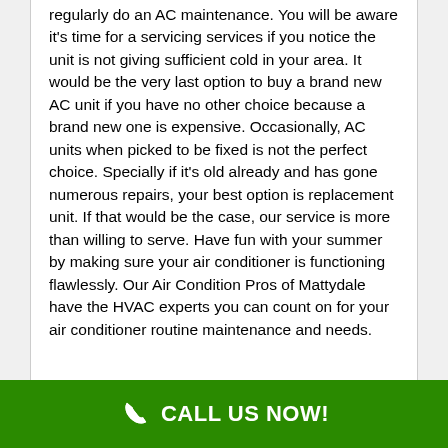regularly do an AC maintenance. You will be aware it's time for a servicing services if you notice the unit is not giving sufficient cold in your area. It would be the very last option to buy a brand new AC unit if you have no other choice because a brand new one is expensive. Occasionally, AC units when picked to be fixed is not the perfect choice. Specially if it's old already and has gone numerous repairs, your best option is replacement unit. If that would be the case, our service is more than willing to serve. Have fun with your summer by making sure your air conditioner is functioning flawlessly. Our Air Condition Pros of Mattydale have the HVAC experts you can count on for your air conditioner routine maintenance and needs.
CALL US NOW!